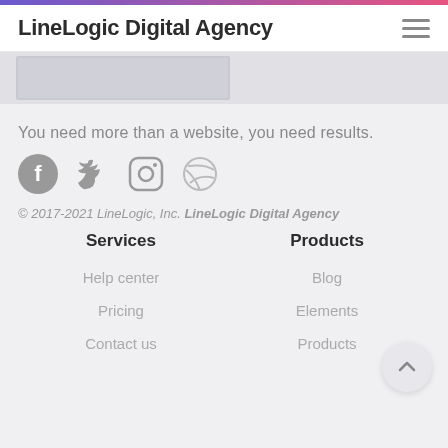LineLogic Digital Agency
[Figure (screenshot): Partial image strip showing a blurred/ghosted banner image]
You need more than a website, you need results.
[Figure (illustration): Social media icons: Facebook, Twitter, Instagram, Dribbble]
© 2017-2021 LineLogic, Inc. LineLogic Digital Agency
Services
Products
Help center
Blog
Pricing
Elements
Contact us
Products